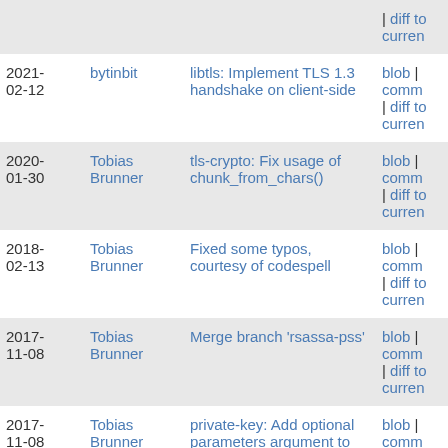| Date | Author | Message | Links |
| --- | --- | --- | --- |
|  |  |  | | diff to current |
| 2021-02-12 | bytinbit | libtls: Implement TLS 1.3 handshake on client-side | blob | comm | diff to current |
| 2020-01-30 | Tobias Brunner | tls-crypto: Fix usage of chunk_from_chars() | blob | comm | diff to current |
| 2018-02-13 | Tobias Brunner | Fixed some typos, courtesy of codespell | blob | comm | diff to current |
| 2017-11-08 | Tobias Brunner | Merge branch 'rsassa-pss' | blob | comm | diff to current |
| 2017-11-08 | Tobias Brunner | private-key: Add optional parameters argument to sign... | blob | comm | diff to current |